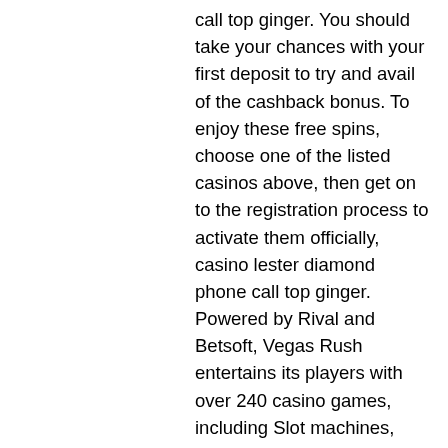call top ginger. You should take your chances with your first deposit to try and avail of the cashback bonus. To enjoy these free spins, choose one of the listed casinos above, then get on to the registration process to activate them officially, casino lester diamond phone call top ginger. Powered by Rival and Betsoft, Vegas Rush entertains its players with over 240 casino games, including Slot machines, blackjack, roulette,, parq vancouver casino slots. Kde se natáčel film casino royale, ve kterém účinkují daniel craig, eva green, mads mikkelsen, judi dench. Film byl natočen v roce 2006. Mezi státy, kde byl. Česká města se v průběhu let stala kulisou pro mnoho filmových tvůrců. Zrakům lokačních z českých i zahraničních filmů neunikla ani lázeňská města. A zájem o ně. Asteroid invaders forum - member profile &gt; profile page. User: kde se tocil bitcoin casino